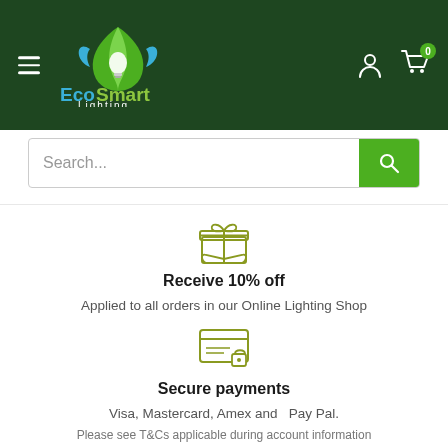EcoSmart Lighting — navigation header with hamburger menu, logo, user icon, cart icon with badge 0
Search...
[Figure (illustration): Gift/present icon with a hand holding a wrapped gift box, olive/yellow-green outline style]
Receive 10% off
Applied to all orders in our Online Lighting Shop
[Figure (illustration): Secure payment icon: credit card with horizontal lines and a padlock, olive/yellow-green outline style]
Secure payments
Visa, Mastercard, Amex and   Pay Pal.
Please see T&Cs applicable during account information